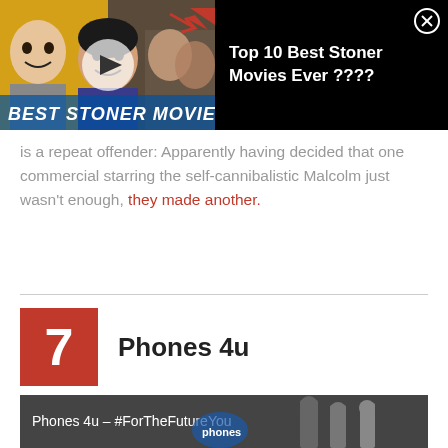[Figure (screenshot): Video thumbnail for 'Top 10 Best Stoner Movies Ever ????' with play button, people smiling, and text overlay 'BEST STONER MOVIES?']
Top 10 Best Stoner Movies Ever ????
is a repeat offender: Apparently having decided that one commercial starring the self-cannibalistic Malcolm just wasn't enough, they made another.
7   Phones 4u
[Figure (screenshot): Video preview thumbnail for 'Phones 4u – #ForTheFutureYou' showing grayscale scene with people in a store or office]